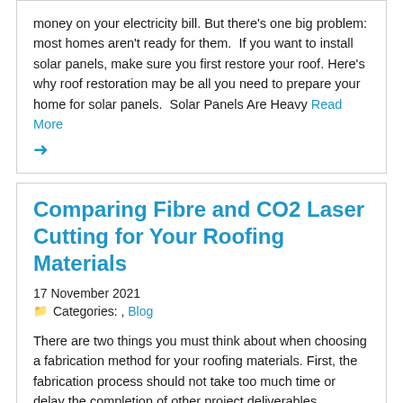money on your electricity bill. But there's one big problem: most homes aren't ready for them.  If you want to install solar panels, make sure you first restore your roof. Here's why roof restoration may be all you need to prepare your home for solar panels.  Solar Panels Are Heavy Read More →
Comparing Fibre and CO2 Laser Cutting for Your Roofing Materials
17 November 2021
Categories: , Blog
There are two things you must think about when choosing a fabrication method for your roofing materials. First, the fabrication process should not take too much time or delay the completion of other project deliverables.